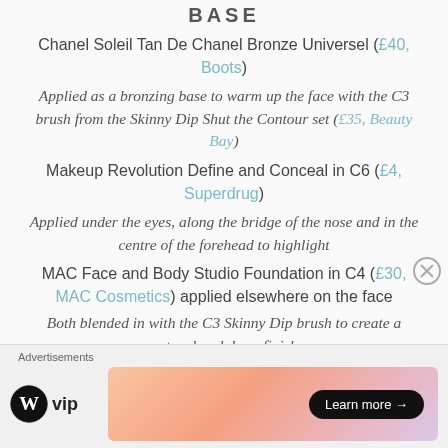BASE
Chanel Soleil Tan De Chanel Bronze Universel (£40, Boots)
Applied as a bronzing base to warm up the face with the C3 brush from the Skinny Dip Shut the Contour set (£35, Beauty Bay)
Makeup Revolution Define and Conceal in C6 (£4, Superdrug)
Applied under the eyes, along the bridge of the nose and in the centre of the forehead to highlight
MAC Face and Body Studio Foundation in C4 (£30, MAC Cosmetics) applied elsewhere on the face
Both blended in with the C3 Skinny Dip brush to create a natural and dewy finish
[Figure (other): Advertisement bar with WordPress VIP logo and a colorful gradient banner with Learn more button]